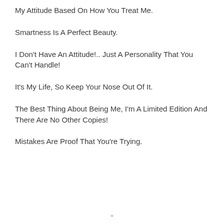My Attitude Based On How You Treat Me.
Smartness Is A Perfect Beauty.
I Don't Have An Attitude!.. Just A Personality That You Can't Handle!
It's My Life, So Keep Your Nose Out Of It.
The Best Thing About Being Me, I'm A Limited Edition And There Are No Other Copies!
Mistakes Are Proof That You're Trying.
×